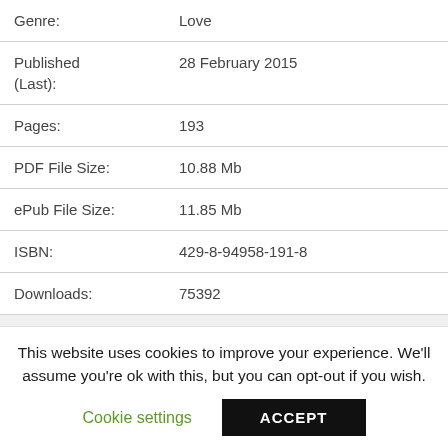| Field | Value |
| --- | --- |
| Genre: | Love |
| Published (Last): | 28 February 2015 |
| Pages: | 193 |
| PDF File Size: | 10.88 Mb |
| ePub File Size: | 11.85 Mb |
| ISBN: | 429-8-94958-191-8 |
| Downloads: | 75392 |
| Price: | Free* [*Free Regsitration |
This website uses cookies to improve your experience. We'll assume you're ok with this, but you can opt-out if you wish.
Cookie settings  ACCEPT